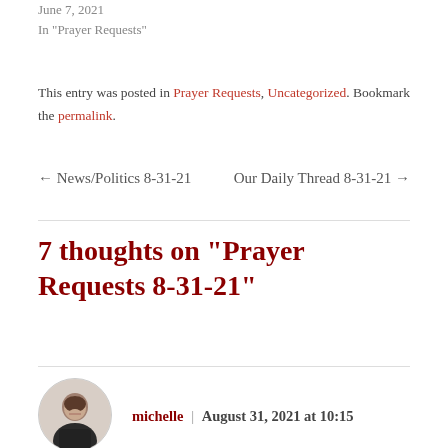June 7, 2021
In "Prayer Requests"
This entry was posted in Prayer Requests, Uncategorized. Bookmark the permalink.
← News/Politics 8-31-21    Our Daily Thread 8-31-21 →
7 thoughts on "Prayer Requests 8-31-21"
michelle | August 31, 2021 at 10:15